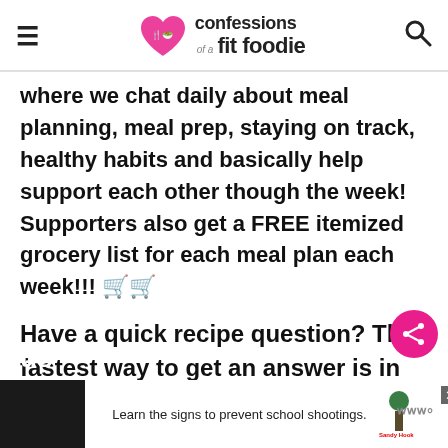confessions of a fit foodie
where we chat daily about meal planning, meal prep, staying on track, healthy habits and basically help support each other though the week!  Supporters also get a FREE itemized grocery list for each meal plan each week!!! 🛒🛒
Have a quick recipe question?  The fastest way to get an answer is in my Ask the Fit Foodie group– come join us